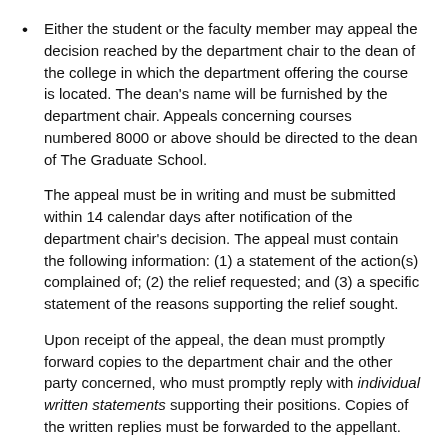Either the student or the faculty member may appeal the decision reached by the department chair to the dean of the college in which the department offering the course is located. The dean's name will be furnished by the department chair. Appeals concerning courses numbered 8000 or above should be directed to the dean of The Graduate School.
The appeal must be in writing and must be submitted within 14 calendar days after notification of the department chair's decision. The appeal must contain the following information: (1) a statement of the action(s) complained of; (2) the relief requested; and (3) a specific statement of the reasons supporting the relief sought.
Upon receipt of the appeal, the dean must promptly forward copies to the department chair and the other party concerned, who must promptly reply with individual written statements supporting their positions. Copies of the written replies must be forwarded to the appellant.
When the replies have been received from the department chair and the other party, the appellant may choose one—and only